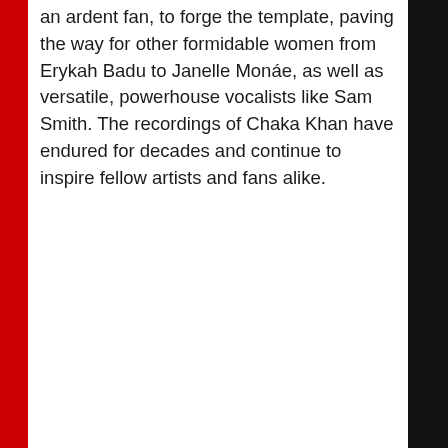an ardent fan, to forge the template, paving the way for other formidable women from Erykah Badu to Janelle Monáe, as well as versatile, powerhouse vocalists like Sam Smith. The recordings of Chaka Khan have endured for decades and continue to inspire fellow artists and fans alike.